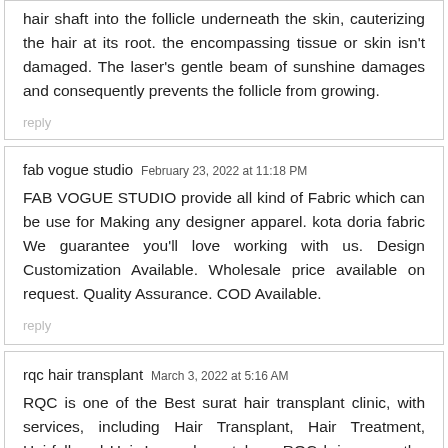hair shaft into the follicle underneath the skin, cauterizing the hair at its root. the encompassing tissue or skin isn't damaged. The laser's gentle beam of sunshine damages and consequently prevents the follicle from growing.
reply
fab vogue studio  February 23, 2022 at 11:18 PM
FAB VOGUE STUDIO provide all kind of Fabric which can be use for Making any designer apparel. kota doria fabric We guarantee you'll love working with us. Design Customization Available. Wholesale price available on request. Quality Assurance. COD Available.
reply
rqc hair transplant  March 3, 2022 at 5:16 AM
RQC is one of the Best surat hair transplant clinic, with services, including Hair Transplant, Hair Treatment, Hairfall and Hair Loss, dermatology. RQC brings you the best services in hair